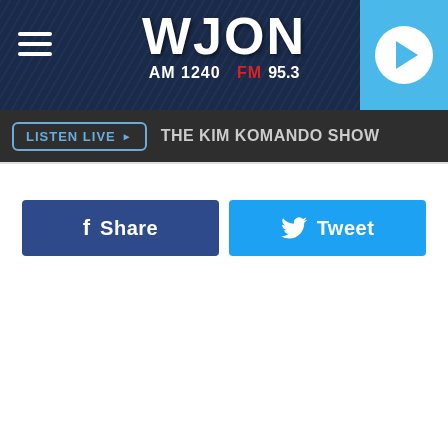[Figure (logo): WJON Radio station header with logo showing AM 1240 FM 95.3, hamburger menu on left, play button on right]
LISTEN LIVE ▶   THE KIM KOMANDO SHOW
[Figure (infographic): Facebook Share button (dark blue) and Twitter Tweet button (light blue) side by side]